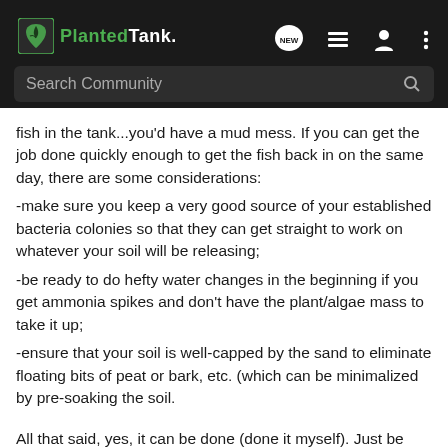PlantedTank — Search Community
fish in the tank...you'd have a mud mess. If you can get the job done quickly enough to get the fish back in on the same day, there are some considerations:
-make sure you keep a very good source of your established bacteria colonies so that they can get straight to work on whatever your soil will be releasing;
-be ready to do hefty water changes in the beginning if you get ammonia spikes and don't have the plant/algae mass to take it up;
-ensure that your soil is well-capped by the sand to eliminate floating bits of peat or bark, etc. (which can be minimalized by pre-soaking the soil.
All that said, yes, it can be done (done it myself). Just be smart about it and keep an eye on your fish.